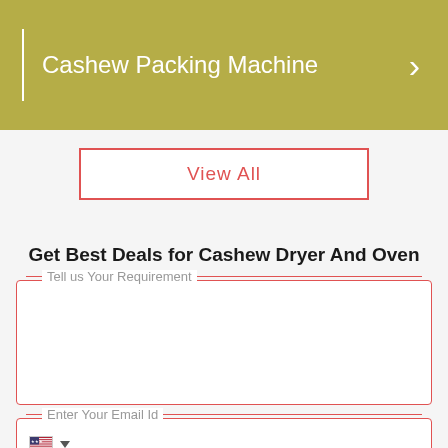[Figure (screenshot): Olive/khaki colored banner with white vertical divider, text 'Cashew Packing Machine' in white, and a white right-arrow chevron]
View All
Get Best Deals for Cashew Dryer And Oven
Tell us Your Requirement
Enter Your Email Id
Enter Your Name